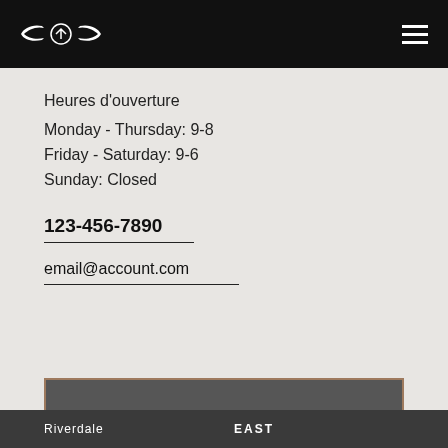Genesis logo and navigation menu
Heures d'ouverture
Monday - Thursday: 9-8
Friday - Saturday: 9-6
Sunday: Closed
123-456-7890
email@account.com
DEMANDE D'ESSAI ROUTIER
Riverdale   EAST